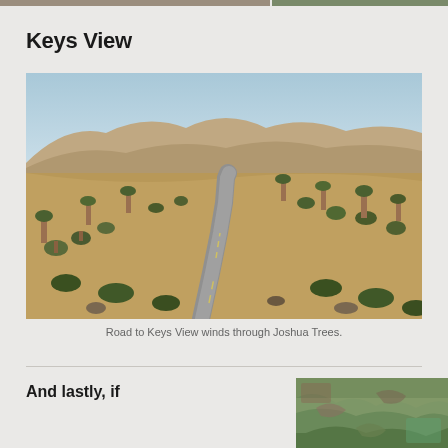[Figure (photo): Partial view of two photos at the top of the page — left showing rock/desert scene, right showing green vegetation]
Keys View
[Figure (photo): A winding road through Joshua Tree desert landscape with mountains in background and Joshua Trees on both sides]
Road to Keys View winds through Joshua Trees.
And lastly, if